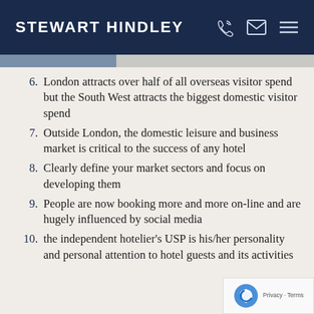STEWART HINDLEY
6. London attracts over half of all overseas visitor spend but the South West attracts the biggest domestic visitor spend
7. Outside London, the domestic leisure and business market is critical to the success of any hotel
8. Clearly define your market sectors and focus on developing them
9. People are now booking more and more online and are hugely influenced by social media
10. the independent hotelier's USP is his/her personality and personal attention to hotel guests and its activities